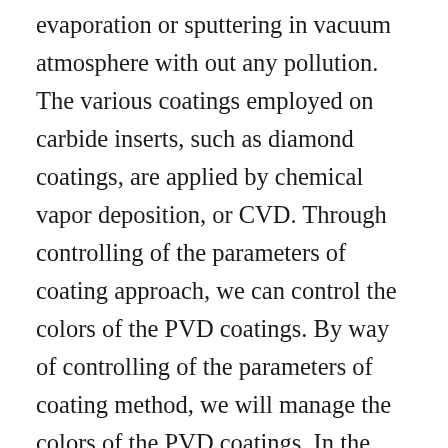evaporation or sputtering in vacuum atmosphere with out any pollution. The various coatings employed on carbide inserts, such as diamond coatings, are applied by chemical vapor deposition, or CVD. Through controlling of the parameters of coating approach, we can control the colors of the PVD coatings. By way of controlling of the parameters of coating method, we will manage the colors of the PVD coatings. In the optical coating, it is often nothing at all far more than a make contact with glass, optical aerospace business for relatively scarce material through the optical film coating system to obtain the impact of a distinct function which is the value of the film exists. Typical PVD coatings embody Titanium nitride (TiN), TiCN, or TiAlN. Multi arc ion coating is employing arc discharge